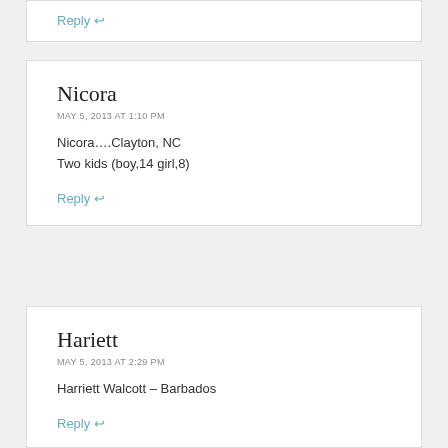Reply ↩
Nicora
MAY 5, 2013 AT 1:10 PM
Nicora….Clayton, NC
Two kids (boy,14 girl,8)
Reply ↩
Hariett
MAY 5, 2013 AT 2:29 PM
Harriett Walcott – Barbados
Reply ↩